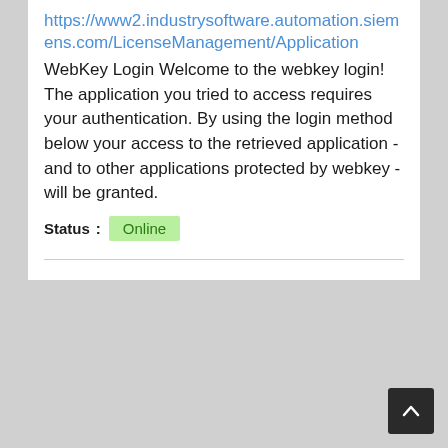https://www2.industrysoftware.automation.siemens.com/LicenseManagement/Application
WebKey Login Welcome to the webkey login! The application you tried to access requires your authentication. By using the login method below your access to the retrieved application - and to other applications protected by webkey - will be granted.
Status: Online